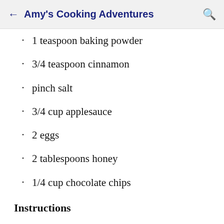Amy's Cooking Adventures
1 teaspoon baking powder
3/4 teaspoon cinnamon
pinch salt
3/4 cup applesauce
2 eggs
2 tablespoons honey
1/4 cup chocolate chips
Instructions
Preheat the oven to 350 degrees F and line a muffin tin with paper liners.
In a large bowl, whisk together the